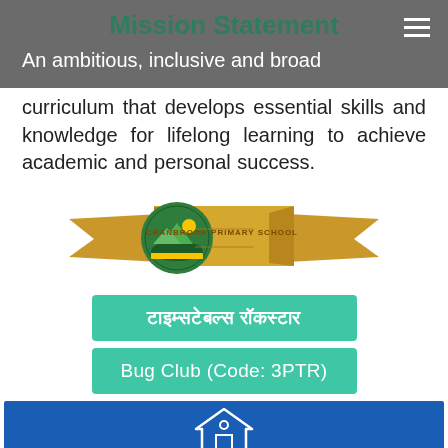Mission Statement
An ambitious, inclusive and broad curriculum that develops essential skills and knowledge for lifelong learning to achieve academic and personal success.
[Figure (logo): Cranbrook Primary School logo with green circular emblem and gold ribbon banner]
टाइम्सटेबल्स रॉकस्टार
Bug Club (Code: 3PTR)
[Figure (illustration): White house/building icon on blue background bar at bottom]